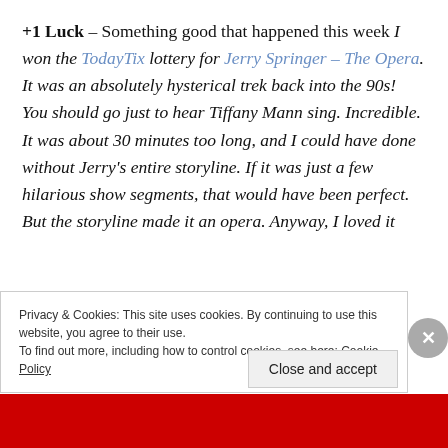+1 Luck – Something good that happened this week I won the TodayTix lottery for Jerry Springer – The Opera. It was an absolutely hysterical trek back into the 90s! You should go just to hear Tiffany Mann sing. Incredible. It was about 30 minutes too long, and I could have done without Jerry's entire storyline. If it was just a few hilarious show segments, that would have been perfect. But the storyline made it an opera. Anyway, I loved it
Privacy & Cookies: This site uses cookies. By continuing to use this website, you agree to their use.
To find out more, including how to control cookies, see here: Cookie Policy
Close and accept